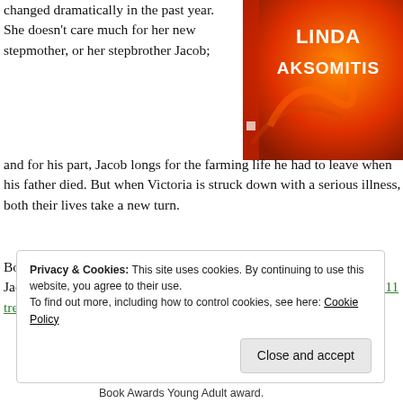changed dramatically in the past year. She doesn't care much for her new stepmother, or her stepbrother Jacob; and for his part, Jacob longs for the farming life he had to leave when his father died. But when Victoria is struck down with a serious illness, both their lives take a new turn.
[Figure (photo): Book cover with orange/red background, showing 'LINDA AKSOMITIS' as author name in white text, with a spiral design element.]
Both Victoria and Jacob narrate the story in alternating chapters. Jacob's mother, Alice, uses nursing skills based on Sister Kenny's 1911 treatment of...
Privacy & Cookies: This site uses cookies. By continuing to use this website, you agree to their use. To find out more, including how to control cookies, see here: Cookie Policy
Close and accept
Book Awards Young Adult award.